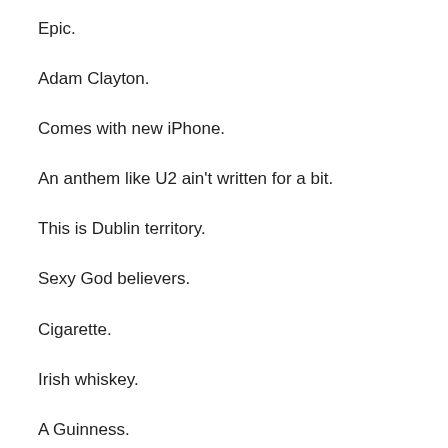Epic.
Adam Clayton.
Comes with new iPhone.
An anthem like U2 ain't written for a bit.
This is Dublin territory.
Sexy God believers.
Cigarette.
Irish whiskey.
A Guinness.
Cloves.
Flower arrangement.